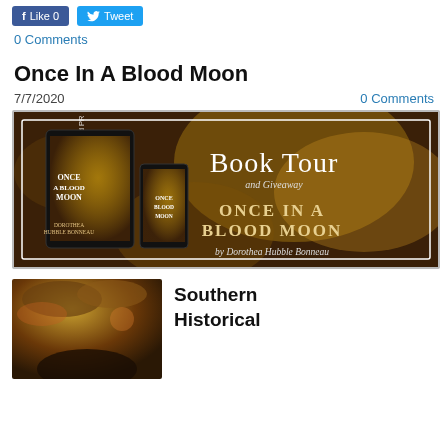[Figure (screenshot): Facebook Like and Twitter Tweet social sharing buttons]
0 Comments
Once In A Blood Moon
7/7/2020
0 Comments
[Figure (illustration): Book Tour and Giveaway banner for 'Once In A Blood Moon' by Dorothea Hubble Bonneau, featuring tablet and phone showing book cover on a warm bokeh background. Text reads: RABT Book Tours and PR, Book Tour and Giveaway, ONCE IN A BLOOD MOON, by Dorothea Hubble Bonneau]
[Figure (photo): Photo of a person partially visible beneath autumn/flowering tree branches with warm tones]
Southern Historical